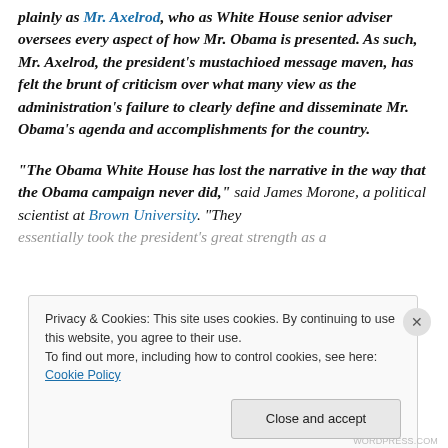plainly as Mr. Axelrod, who as White House senior adviser oversees every aspect of how Mr. Obama is presented. As such, Mr. Axelrod, the president's mustachioed message maven, has felt the brunt of criticism over what many view as the administration's failure to clearly define and disseminate Mr. Obama's agenda and accomplishments for the country.
“The Obama White House has lost the narrative in the way that the Obama campaign never did,” said James Morone, a political scientist at Brown University. “They essentially took the president’s great strength as a
Privacy & Cookies: This site uses cookies. By continuing to use this website, you agree to their use.
To find out more, including how to control cookies, see here: Cookie Policy
Close and accept